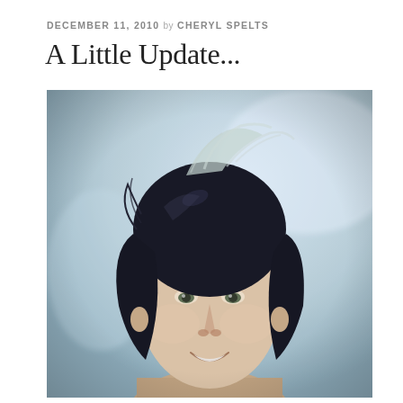DECEMBER 11, 2010 by CHERYL SPELTS
A Little Update...
[Figure (photo): Portrait photograph of a man with dark curly hair, smiling, shot against a blurred light blue/grey background. Hair appears windswept with light catching strands. Close-up face shot, slightly cool color tone.]